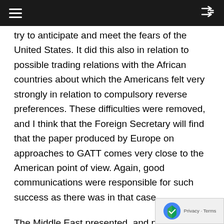[Navigation bar with hamburger menu and shuffle icon]
try to anticipate and meet the fears of the United States. It did this also in relation to possible trading relations with the African countries about which the Americans felt very strongly in relation to compulsory reverse preferences. These difficulties were removed, and I think that the Foreign Secretary will find that the paper produced by Europe on approaches to GATT comes very close to the American point of view. Again, good communications were responsible for such success as there was in that case.
The Middle East presented, and presents, a more difficult problem. For many generations Britain and Europe have naturally been involved in that area and they had much first-hand experience. Until lately, the United States has been reluctant to